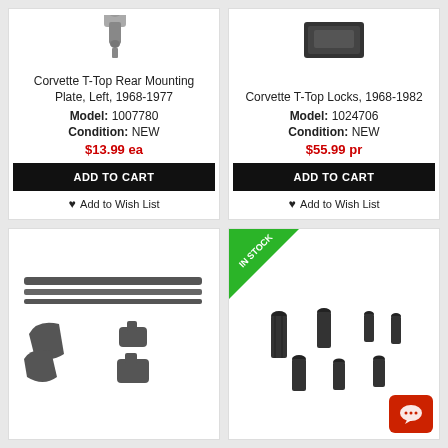[Figure (photo): Corvette T-Top Rear Mounting Plate part photo]
Corvette T-Top Rear Mounting Plate, Left, 1968-1977
Model: 1007780
Condition: NEW
$13.99 ea
ADD TO CART
Add to Wish List
[Figure (photo): Corvette T-Top Locks part photo]
Corvette T-Top Locks, 1968-1982
Model: 1024706
Condition: NEW
$55.99 pr
ADD TO CART
Add to Wish List
[Figure (photo): Corvette T-Top weatherstrip and clips parts photo]
[Figure (photo): Corvette screws hardware set photo with IN STOCK badge]